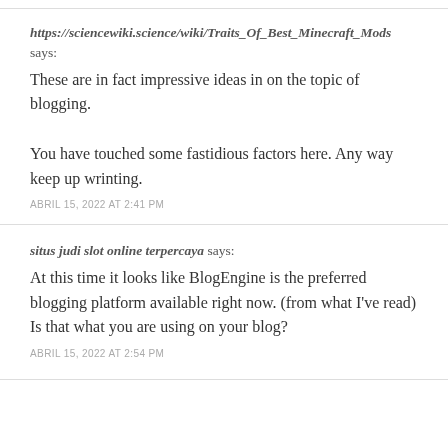https://sciencewiki.science/wiki/Traits_Of_Best_Minecraft_Mods says:
These are in fact impressive ideas in on the topic of blogging.

You have touched some fastidious factors here. Any way keep up wrinting.
ABRIL 15, 2022 AT 2:41 PM
situs judi slot online terpercaya says:
At this time it looks like BlogEngine is the preferred blogging platform available right now. (from what I've read) Is that what you are using on your blog?
ABRIL 15, 2022 AT 2:54 PM